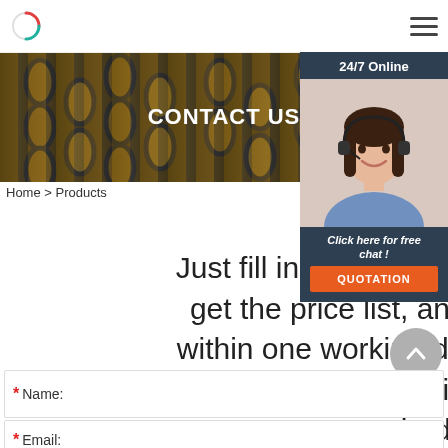[Figure (logo): Circular logo icon with teal/red partial ring]
CONTACT US
[Figure (photo): 24/7 Online support agent - woman with headset smiling, overlaid on dark blue panel with 'Click here for free chat!' text and orange QUOTATION button]
Home > Products
iraq 320c eye hook quality
Just fill in the form below, click sub get the price list, and we will con within one working day. Please als to contact us via email or phone. (* is required).
* Name:
* Email: